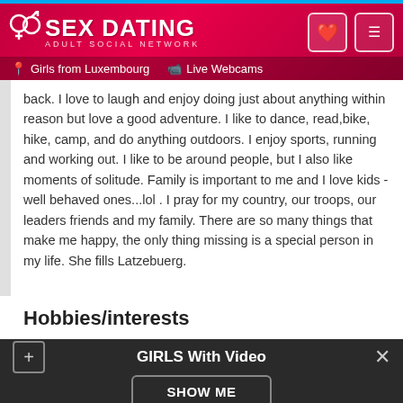[Figure (screenshot): Sex Dating Adult Social Network website header with logo, heart icon button, hamburger menu button, Girls from Luxembourg link, and Live Webcams link on dark red/crimson gradient background]
back. I love to laugh and enjoy doing just about anything within reason but love a good adventure. I like to dance, read,bike, hike, camp, and do anything outdoors. I enjoy sports, running and working out. I like to be around people, but I also like moments of solitude. Family is important to me and I love kids - well behaved ones...lol . I pray for my country, our troops, our leaders friends and my family. There are so many things that make me happy, the only thing missing is a special person in my life. She fills Latzebuerg.
Hobbies/interests
GIRLS With Video
SHOW ME